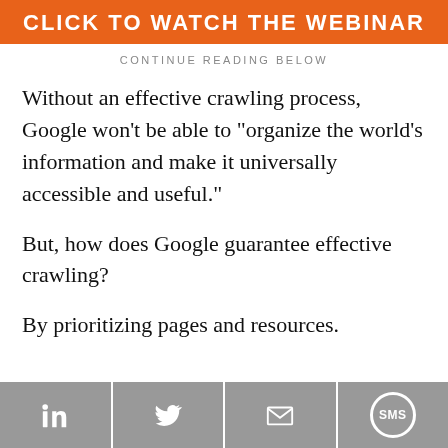[Figure (other): Orange banner with white uppercase bold text: CLICK TO WATCH THE WEBINAR]
CONTINUE READING BELOW
Without an effective crawling process, Google won’t be able to “organize the world’s information and make it universally accessible and useful.”
But, how does Google guarantee effective crawling?
By prioritizing pages and resources.
[Figure (other): Social share bar with four buttons: LinkedIn, Twitter, Email, SMS]